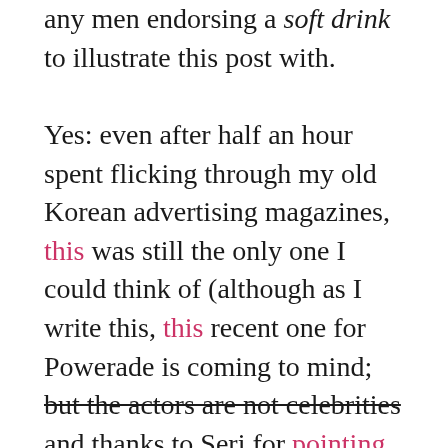any men endorsing a soft drink to illustrate this post with.

Yes: even after half an hour spent flicking through my old Korean advertising magazines, this was still the only one I could think of (although as I write this, this recent one for Powerade is coming to mind; but the actors are not celebrities and thanks to Seri for pointing out that it features the group Epik High). If anyone can think of any more, then please let me know.* But if not, then overwhelmingly having women in Korean soft drink commercials aimed at women seems to provides additional evidence for their preference for passive